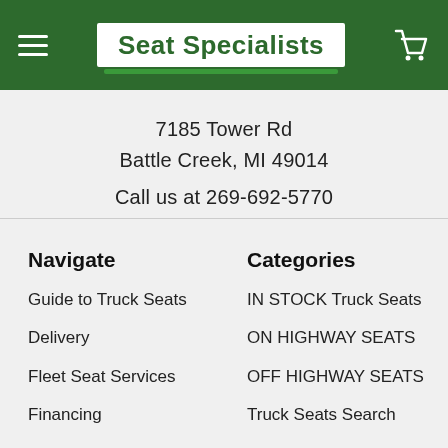Seat Specialists
7185 Tower Rd
Battle Creek, MI 49014

Call us at 269-692-5770
Navigate
Guide to Truck Seats
Delivery
Fleet Seat Services
Financing
Categories
IN STOCK Truck Seats
ON HIGHWAY SEATS
OFF HIGHWAY SEATS
Truck Seats Search